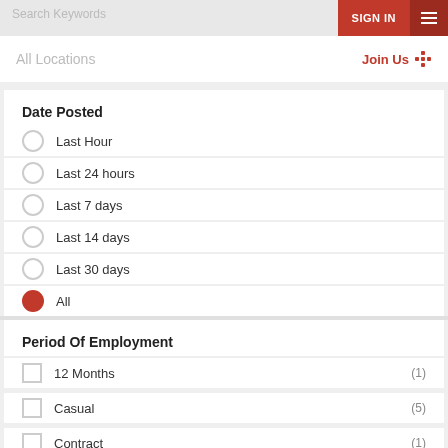Search Keywords
SIGN IN
All Locations   Join Us
Date Posted
Last Hour
Last 24 hours
Last 7 days
Last 14 days
Last 30 days
All
Period Of Employment
12 Months (1)
Casual (5)
Contract (1)